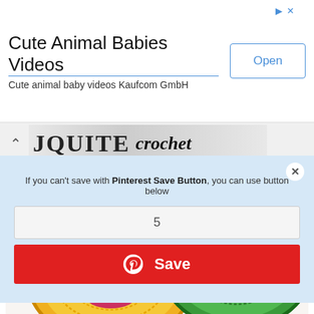[Figure (screenshot): Advertisement banner: 'Cute Animal Babies Videos' with 'Cute animal baby videos Kaufcom GmbH' subtitle and 'Open' button]
[Figure (screenshot): Website header strip with up chevron and logo showing 'JQUITE crochet' text]
If you can't save with Pinterest Save Button, you can use button below
5
[Figure (screenshot): Red Save button with Pinterest logo icon]
[Figure (photo): Close-up photo of colorful crocheted amigurumi pieces — yellow with pink mouth and green with pink center]
How to Crochet Open Mouth Amigurumi Tutorial and Pattern